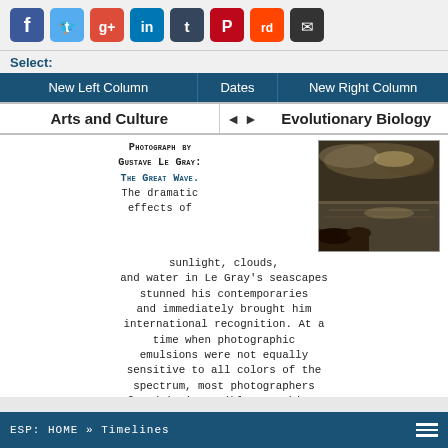[Figure (infographic): Social media sharing icons bar: Facebook (blue), Twitter (blue), Google+ (red), LinkedIn (blue), Tumblr (dark), Pinterest (red), Reddit (orange), Email (black)]
Select:
| New Left Column | Dates | New Right Column |
| --- | --- | --- |
Arts and Culture   ◄ ►   Evolutionary Biology
[Figure (photo): Sepia-toned photograph of a seascape – The Great Wave by Gustave Le Gray, showing a dramatic cloudy sky over a calm sea]
Photograph by Gustave Le Gray: The Great Wave. The dramatic effects of sunlight, clouds, and water in Le Gray's seascapes stunned his contemporaries and immediately brought him international recognition. At a time when photographic emulsions were not equally sensitive to all colors of the spectrum, most photographers found it impossible to achieve proper exposure of both landscape and sky in a single picture. Le Gray solved this problem by printing two negatives on a single sheet of paper: one exposed for the sea, the other for the sky, and sometimes made on separate
ESP: HOME » Timelines